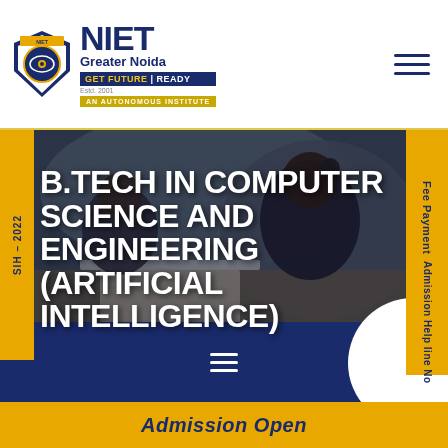[Figure (logo): NIET Greater Noida logo with shield emblem, tagline GET FUTURE READY, AN AUTONOMOUS INSTITUTE banner]
[Figure (photo): Students studying/working together at a desk, hero banner background photo with overlay text B.TECH IN COMPUTER SCIENCE AND ENGINEERING (ARTIFICIAL INTELLIGENCE)]
B.TECH IN COMPUTER SCIENCE AND ENGINEERING (ARTIFICIAL INTELLIGENCE)
SIH – 2022
Fee Payment
Admission Help line No
Admission Open